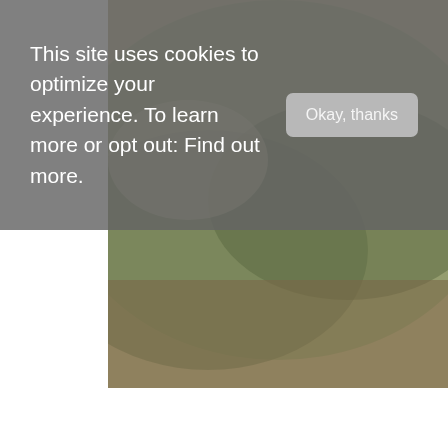This site uses cookies to optimize your experience. To learn more or opt out: Find out more.
[Figure (photo): Cookie consent banner overlay with gray background, showing text and Okay thanks button]
[Figure (photo): Partial view of a food dish - appears to be a plated dish with green and brown tones, cropped at top]
[Figure (photo): Dark bowl with green soup/broth, white dumplings, a green sphere, and a cracker/biscuit garnish, served on a woven mat placemat]